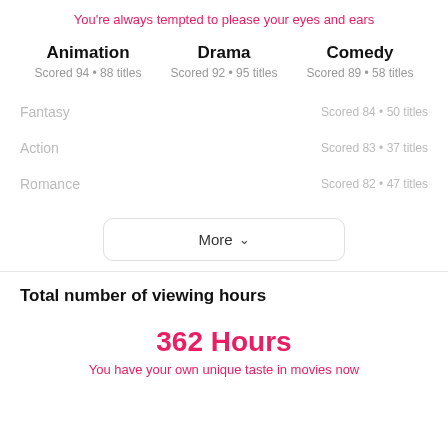You're always tempted to please your eyes and ears
Animation – Scored 94 • 88 titles
Drama – Scored 92 • 95 titles
Comedy – Scored 89 • 58 titles
Fantasy – Scored 84 • 50 titles
Action – Scored 83 • 37 titles
Romance – Scored 82 • 47 titles
More
Total number of viewing hours
362 Hours
You have your own unique taste in movies now